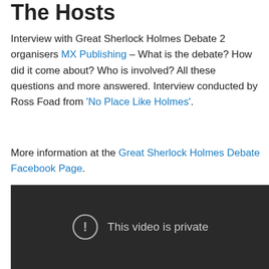The Hosts
Interview with Great Sherlock Holmes Debate 2 organisers MX Publishing – What is the debate? How did it come about? Who is involved? All these questions and more answered. Interview conducted by Ross Foad from 'No Place Like Holmes'.
More information at the Great Sherlock Holmes Debate Facebook Page.
[Figure (screenshot): Embedded video player showing 'This video is private' message with a warning icon on a dark background.]